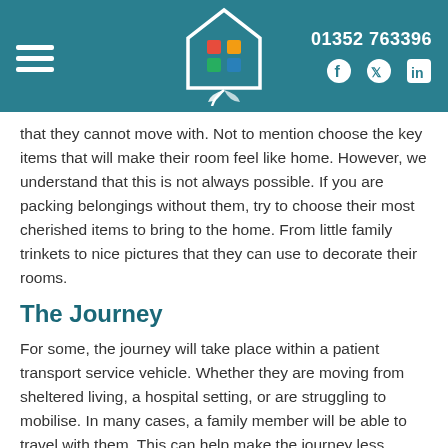01352 763396
that they cannot move with. Not to mention choose the key items that will make their room feel like home. However, we understand that this is not always possible. If you are packing belongings without them, try to choose their most cherished items to bring to the home. From little family trinkets to nice pictures that they can use to decorate their rooms.
The Journey
For some, the journey will take place within a patient transport service vehicle. Whether they are moving from sheltered living, a hospital setting, or are struggling to mobilise. In many cases, a family member will be able to travel with them. This can help make the journey less stressful.
If you are able to bring your loved one in your own